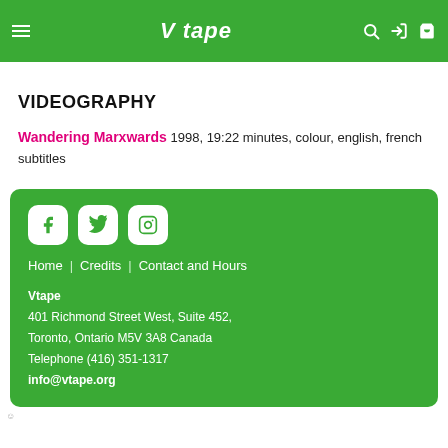V tape
VIDEOGRAPHY
Wandering Marxwards   1998, 19:22 minutes, colour, english, french subtitles
Home | Credits | Contact and Hours
Vtape
401 Richmond Street West, Suite 452,
Toronto, Ontario M5V 3A8 Canada
Telephone (416) 351-1317
info@vtape.org